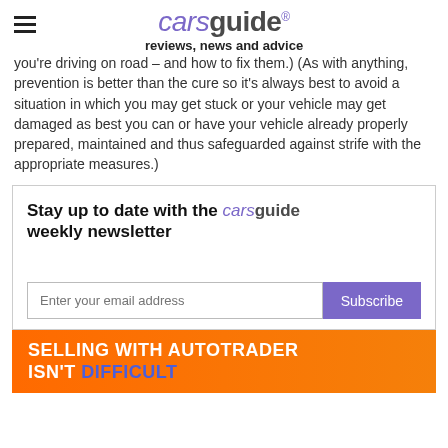carsguide reviews, news and advice
you're driving on road – and how to fix them.) (As with anything, prevention is better than the cure so it's always best to avoid a situation in which you may get stuck or your vehicle may get damaged as best you can or have your vehicle already properly prepared, maintained and thus safeguarded against strife with the appropriate measures.)
Stay up to date with the carsguide weekly newsletter
Enter your email address
Subscribe
SELLING WITH AUTOTRADER ISN'T DIFFICULT